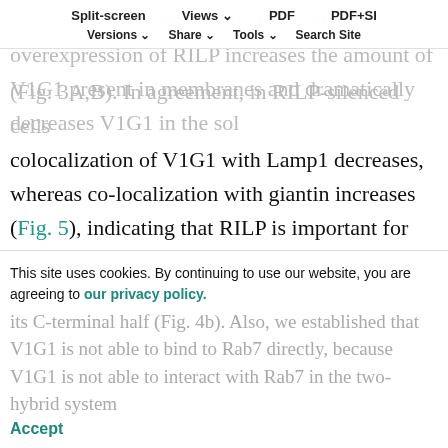to V1G1, decreases it (Fig. 4). In addition, overexpression of RILP increases the amount of V1G1 present in membranes and dramatically decreases V1G1 in the sol (Fig. 3A,B). In agreement, in RILP-silenced cells colocalization of V1G1 with Lamp1 decreases, whereas co-localization with giantin increases (Fig. 5), indicating that RILP is important for the recruitment of V1G1 to late endosomal and lysosomal membranes. Thus, GTP-bound Rab7 recruits RILP to late endosomes and lysosomes (Cantalupo et al., 2001), and RILP, in turn, recruits V1G1 to these organelles. In fact, we demonstrated by co-immunoprecipitation that RILP is able to bind simultaneously to V1G1 at its N-terminal half and Rab7 at its C-terminal half (Fig. 4b). Also, we established that V1G1 is not able to bind to Rab7 directly, because V1G1 is not able to interact with Rab7 in the two-hybrid system
Split-screen | Views | PDF | PDF+SI | Versions | Share | Tools | Search Site
This site uses cookies. By continuing to use our website, you are agreeing to our privacy policy. Accept